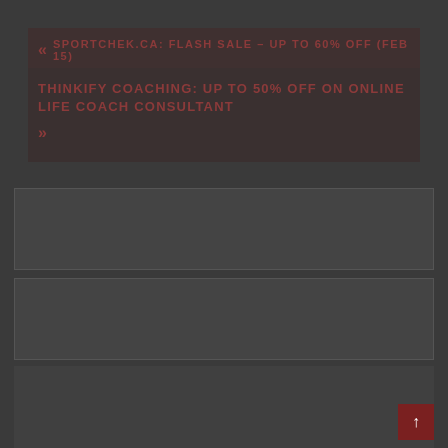« SPORTCHEK.CA: FLASH SALE – UP TO 60% OFF (FEB 15)
THINKIFY COACHING: UP TO 50% OFF ON ONLINE LIFE COACH CONSULTANT
»
[Figure (other): Dark gray content block / advertisement area 1]
[Figure (other): Dark gray content block / advertisement area 2]
[Figure (other): Dark gray content block / advertisement area 3 with Groupon banner showing 'Up to 90% off']
[Figure (logo): Groupon logo and offer: Up to 90% off]